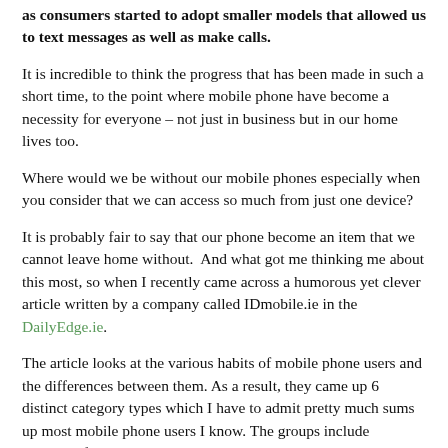as consumers started to adopt smaller models that allowed us to text messages as well as make calls.
It is incredible to think the progress that has been made in such a short time, to the point where mobile phone have become a necessity for everyone – not just in business but in our home lives too.
Where would we be without our mobile phones especially when you consider that we can access so much from just one device?
It is probably fair to say that our phone become an item that we cannot leave home without.  And what got me thinking me about this most, so when I recently came across a humorous yet clever article written by a company called IDmobile.ie in the DailyEdge.ie.
The article looks at the various habits of mobile phone users and the differences between them. As a result, they came up 6 distinct category types which I have to admit pretty much sums up most mobile phone users I know. The groups include everyone from the technologically challenged to the early adopters of the latest models. Here is a summary of the various groups.  Have a look and see which one are you?
The early adopter – these people always have the latest model and best gadgets way before anyone else and the